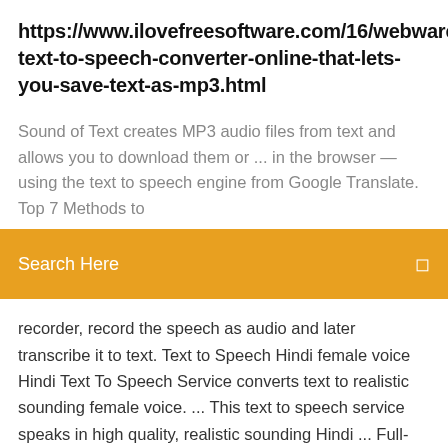https://www.ilovefreesoftware.com/16/webware/free-text-to-speech-converter-online-that-lets-you-save-text-as-mp3.html
Sound of Text creates MP3 audio files from text and allows you to download them or ... in the browser — using the text to speech engine from Google Translate. Top 7 Methods to
Search Here
recorder, record the speech as audio and later transcribe it to text. Text to Speech Hindi female voice Hindi Text To Speech Service converts text to realistic sounding female voice. ... This text to speech service speaks in high quality, realistic sounding Hindi ... Full- featured online translator with text to speech converter localized to 23 languages  ... Natural Text Reader: Free Text To Speech with High Quality ... Text to speech with high quality natural voices, that allows you to read and convert text to voice, Try it now and read text naturally in over 19 ....